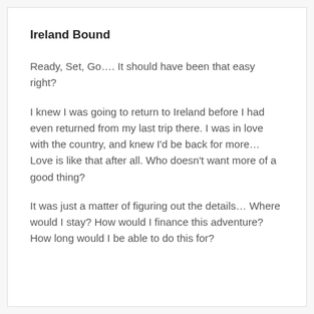Ireland Bound
Ready, Set, Go…. It should have been that easy right?
I knew I was going to return to Ireland before I had even returned from my last trip there. I was in love with the country, and knew I'd be back for more… Love is like that after all. Who doesn't want more of a good thing?
It was just a matter of figuring out the details… Where would I stay? How would I finance this adventure? How long would I be able to do this for?